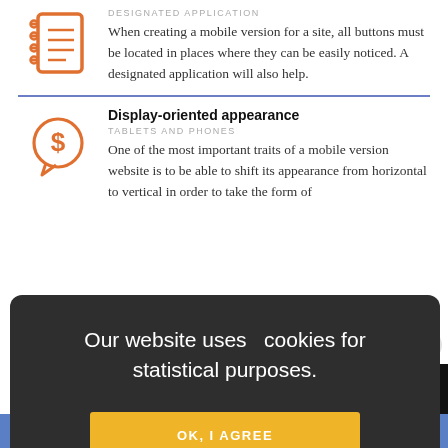[Figure (illustration): Orange notebook/report icon with lines and circles]
Designated application
When creating a mobile version for a site, all buttons must be located in places where they can be easily noticed. A designated application will also help.
Display-oriented appearance
Tablets and phones
[Figure (illustration): Orange speech bubble with dollar sign icon]
One of the most important traits of a mobile version website is to be able to shift its appearance from horizontal to vertical in order to take the form of
Our website uses  cookies for statistical purposes.
OK, I AGREE
design services.
Privacy · Terms
CONTACT US FOR MOBILE WEB DESIGN